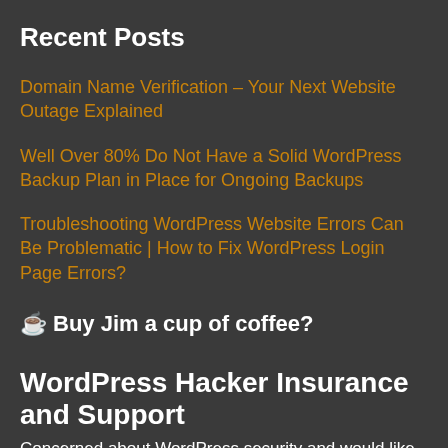Recent Posts
Domain Name Verification – Your Next Website Outage Explained
Well Over 80% Do Not Have a Solid WordPress Backup Plan in Place for Ongoing Backups
Troubleshooting WordPress Website Errors Can Be Problematic | How to Fix WordPress Login Page Errors?
☕ Buy Jim a cup of coffee?
WordPress Hacker Insurance and Support
Concerned about WordPress security and would like